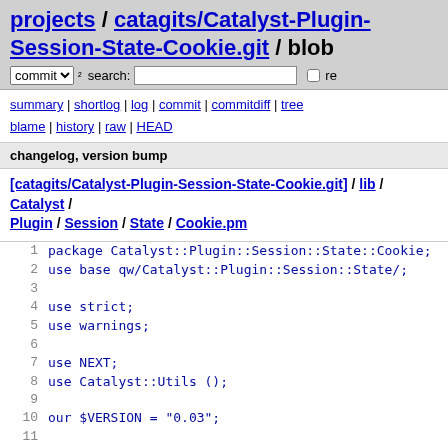projects / catagits/Catalyst-Plugin-Session-State-Cookie.git / blob
commit ▾ ² search: [input] re
summary | shortlog | log | commit | commitdiff | tree
blame | history | raw | HEAD
changelog, version bump
[catagits/Catalyst-Plugin-Session-State-Cookie.git] / lib / Catalyst / Plugin / Session / State / Cookie.pm
1  package Catalyst::Plugin::Session::State::Cookie;
2  use base qw/Catalyst::Plugin::Session::State/;
3
4  use strict;
5  use warnings;
6
7  use NEXT;
8  use Catalyst::Utils ();
9
10 our $VERSION = "0.03";
11
12 sub setup_session {
13     my $c = shift;
14
15     $c->NEXT::setup_session(@_);
16
17     $c->config->{session}{cookie_name}
18     ||= Catalyst::Utils::appprefix($c, ' session